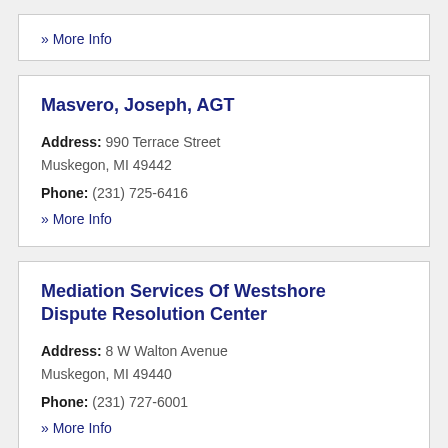» More Info
Masvero, Joseph, AGT
Address: 990 Terrace Street Muskegon, MI 49442
Phone: (231) 725-6416
» More Info
Mediation Services Of Westshore Dispute Resolution Center
Address: 8 W Walton Avenue Muskegon, MI 49440
Phone: (231) 727-6001
» More Info